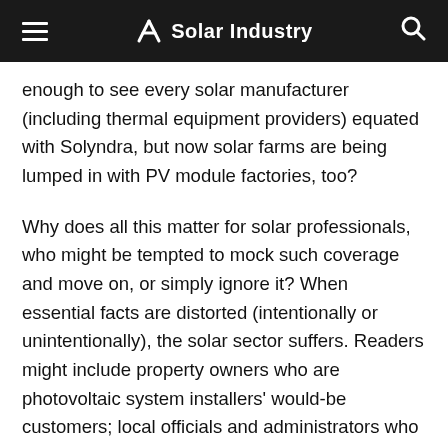Solar Industry
enough to see every solar manufacturer (including thermal equipment providers) equated with Solyndra, but now solar farms are being lumped in with PV module factories, too?
Why does all this matter for solar professionals, who might be tempted to mock such coverage and move on, or simply ignore it? When essential facts are distorted (intentionally or unintentionally), the solar sector suffers. Readers might include property owners who are photovoltaic system installers' would-be customers; local officials and administrators who can either approve a solar project or tangle it in red tape; and myriad other citizens with a major collective impact on market growth.
When they are barraged with negative and inaccurate